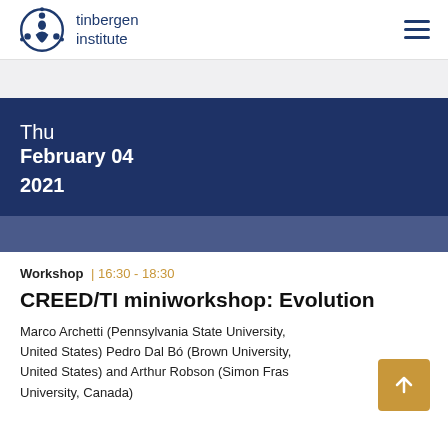tinbergen institute
Thu
February 04
2021
Workshop | 16:30 - 18:30
CREED/TI miniworkshop: Evolution
Marco Archetti (Pennsylvania State University, United States) Pedro Dal Bó (Brown University, United States) and Arthur Robson (Simon Fraser University, Canada)